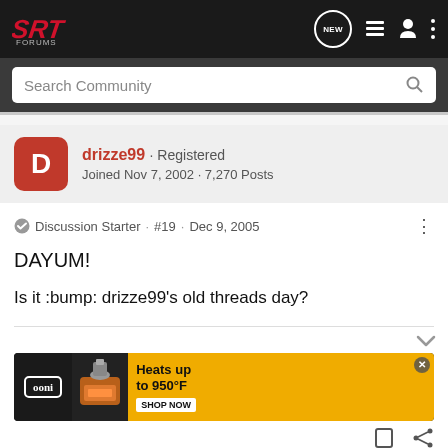[Figure (logo): SRT Forums logo in red and white on black background]
Search Community
drizze99 · Registered
Joined Nov 7, 2002 · 7,270 Posts
Discussion Starter · #19 · Dec 9, 2005
DAYUM!
Is it :bump: drizze99's old threads day?
[Figure (screenshot): Ooni pizza oven advertisement: Heats up to 950°F. Shop Now.]